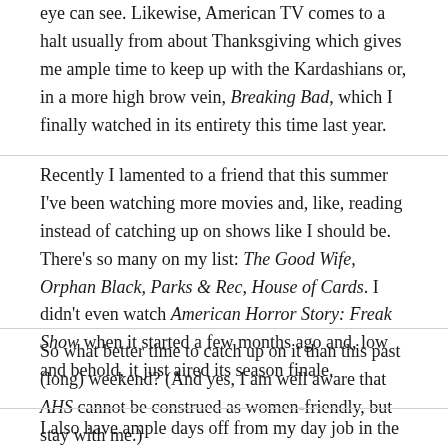eye can see. Likewise, American TV comes to a halt usually from about Thanksgiving which gives me ample time to keep up with the Kardashians or, in a more high brow vein, Breaking Bad, which I finally watched in its entirety this time last year.
Recently I lamented to a friend that this summer I've been watching more movies and, like, reading instead of catching up on shows like I should be. There's so many on my list: The Good Wife, Orphan Black, Parks & Rec, House of Cards. I didn't even watch American Horror Story: Freak Show when it started a few months ago and, low and behold, it just aired its season finale.
So what better time to catch up on it than this past (long) weekend? (And yes, I am well aware that AHS cannot be construed as women-friendly, but stay with me.)
I also have ample days off from my day job in the next